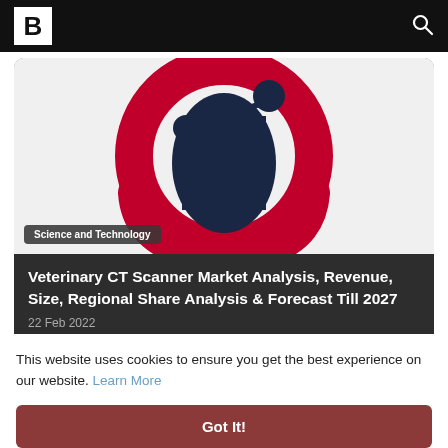B [logo] [search icon]
[Figure (illustration): Market research logo: red and dark navy circular icon with bar chart and figure silhouettes on white/red background]
Science and Technology
Veterinary CT Scanner Market Analysis, Revenue, Size, Regional Share Analysis & Forecast Till 2027
22 Feb 2022
This website uses cookies to ensure you get the best experience on our website. Learn More
Got It!